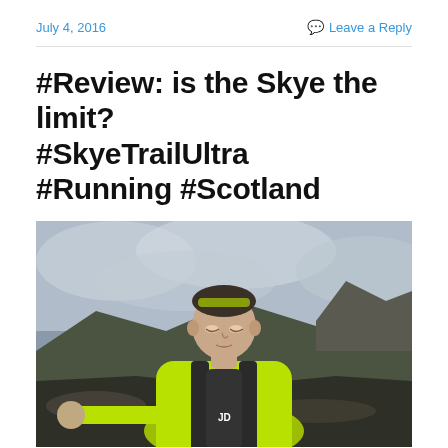July 4, 2016
Leave a Reply
#Review: is the Skye the limit? #SkyeTrailUltra #Running #Scotland
[Figure (photo): A trail runner wearing a neon green top and hydration vest taking a selfie on a rocky Scottish highland landscape with overcast skies in the background.]